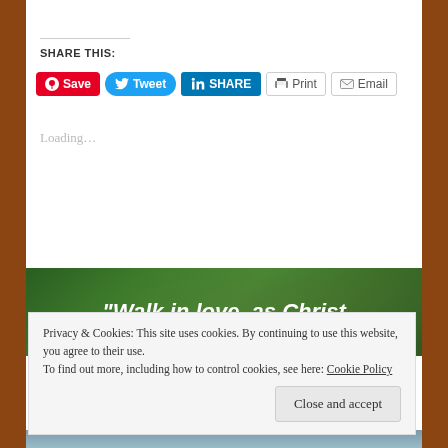[Figure (photo): Top banner photo showing cloudy sky and dark trees]
SHARE THIS:
[Figure (infographic): Share buttons row: Save (Pinterest, red), Tweet (Twitter, blue), SHARE (LinkedIn, blue), Print (grey), Email (grey)]
Loading...
[Figure (photo): Green nature banner with white italic text: "Walk in love, as Christ" and small URL watermark]
Privacy & Cookies: This site uses cookies. By continuing to use this website, you agree to their use.
To find out more, including how to control cookies, see here: Cookie Policy
Close and accept